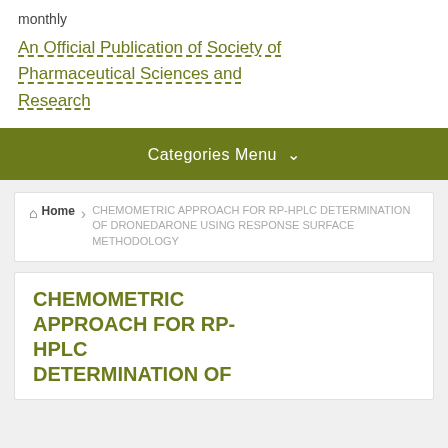monthly
An Official Publication of Society of Pharmaceutical Sciences and Research
Categories Menu
Home > CHEMOMETRIC APPROACH FOR RP-HPLC DETERMINATION OF DRONEDARONE USING RESPONSE SURFACE METHODOLOGY
CHEMOMETRIC APPROACH FOR RP-HPLC DETERMINATION OF